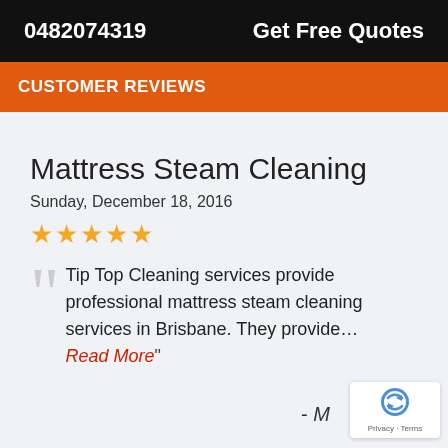0482074319   Get Free Quotes
CUSTOMER REVIEWS
Mattress Steam Cleaning
Sunday, December 18, 2016
★★★★★
"Tip Top Cleaning services provide professional mattress steam cleaning services in Brisbane. They provide… Read More"
- M